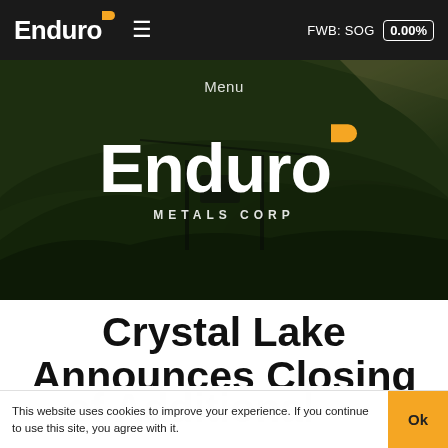Enduro ≡  FWB: SOG 0.00%
[Figure (photo): Aerial photo of mountain forest landscape with cable car structure, overlaid with Enduro Metals Corp logo in white and yellow. Menu label visible at top.]
Crystal Lake Announces Closing of Additional
This website uses cookies to improve your experience. If you continue to use this site, you agree with it.